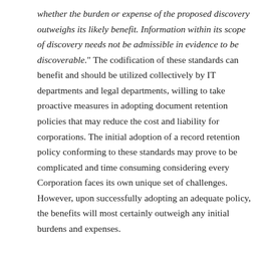whether the burden or expense of the proposed discovery outweighs its likely benefit. Information within its scope of discovery needs not be admissible in evidence to be discoverable." The codification of these standards can benefit and should be utilized collectively by IT departments and legal departments, willing to take proactive measures in adopting document retention policies that may reduce the cost and liability for corporations. The initial adoption of a record retention policy conforming to these standards may prove to be complicated and time consuming considering every Corporation faces its own unique set of challenges. However, upon successfully adopting an adequate policy, the benefits will most certainly outweigh any initial burdens and expenses.